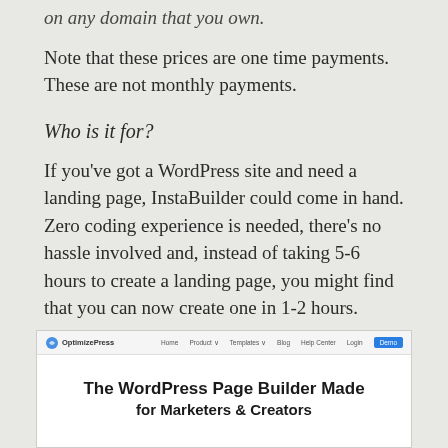on any domain that you own.
Note that these prices are one time payments. These are not monthly payments.
Who is it for?
If you've got a WordPress site and need a landing page, InstaBuilder could come in hand. Zero coding experience is needed, there's no hassle involved and, instead of taking 5-6 hours to create a landing page, you might find that you can now create one in 1-2 hours.
Optimize Press – WordPress Plugin
[Figure (screenshot): Screenshot of OptimizePress website showing navigation bar and headline 'The WordPress Page Builder Made for Marketers & Creators']